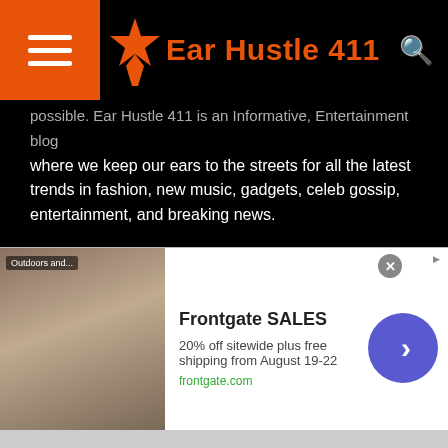Ear Hustle 411
possible. Ear Hustle 411 is an Informative, Entertainment blog where we keep our ears to the streets for all the latest trends in fashion, new music, gadgets, celeb gossip, entertainment, and breaking news.
[Figure (infographic): Row of social media icons: Facebook, Twitter, Pinterest, Instagram, Google+, YouTube, RSS]
RECENT POSTS
CEO of Digital Mortgage Company Fires 900 Employees During Zoom Call: “You’re Terminated Effective Immediatly”
Holy Cow: Plumber Finds $600K Worth of Cash and Checks Buried behind a Wall at Joel Osteen’s Mega Church
[Figure (infographic): Advertisement banner for Frontgate SALES: 20% off sitewide plus free shipping from August 19-22. frontgate.com]